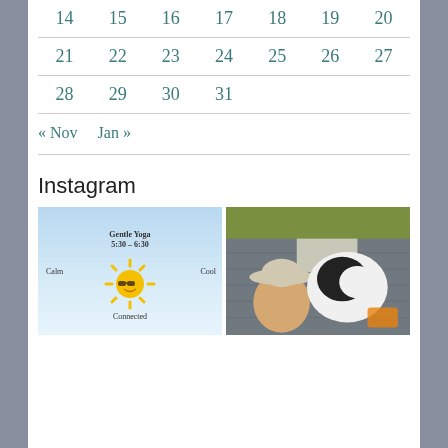| 14 | 15 | 16 | 17 | 18 | 19 | 20 |
| 21 | 22 | 23 | 24 | 25 | 26 | 27 |
| 28 | 29 | 30 | 31 |  |  |  |
« Nov   Jan »
Instagram
[Figure (illustration): Yoga class promotional image with sun wearing sunglasses, text: Gentle Yoga 5:30-6:30, Calm, Cool, Connected, on a light blue gradient background]
[Figure (photo): Selfie of a person with a hat and a black and white dog in the back seat of a car]